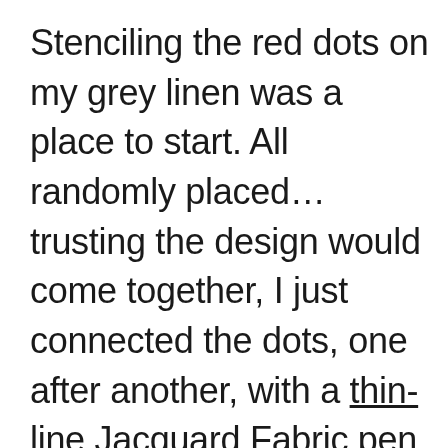Stenciling the red dots on my grey linen was a place to start. All randomly placed… trusting the design would come together, I just connected the dots, one after another, with a thin-line Jacquard Fabric pen. I will share how this